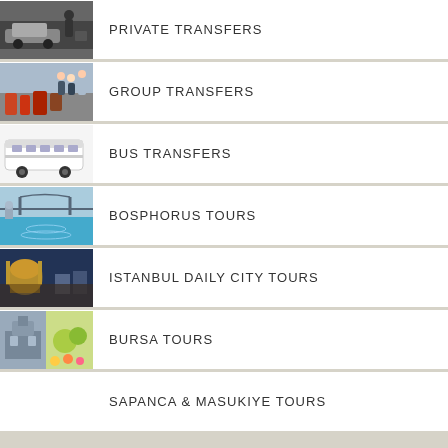PRIVATE TRANSFERS
GROUP TRANSFERS
BUS TRANSFERS
BOSPHORUS TOURS
ISTANBUL DAILY CITY TOURS
BURSA TOURS
SAPANCA & MASUKIYE TOURS